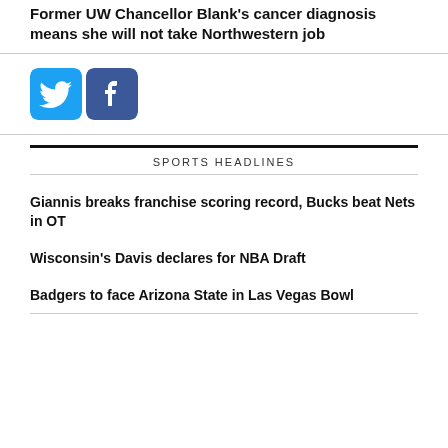Former UW Chancellor Blank's cancer diagnosis means she will not take Northwestern job
[Figure (illustration): Twitter and Facebook social media icons side by side]
SPORTS HEADLINES
Giannis breaks franchise scoring record, Bucks beat Nets in OT
Wisconsin's Davis declares for NBA Draft
Badgers to face Arizona State in Las Vegas Bowl